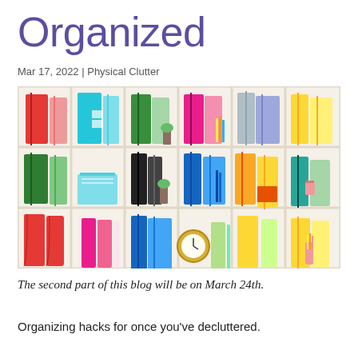Organized
Mar 17, 2022 | Physical Clutter
[Figure (photo): A colorful bookshelf with 18 compartments arranged in 3 rows and 6 columns, filled with neatly organized binders, folders, and office supplies in various colors including red, teal, green, pink, blue, yellow, and lime green.]
The second part of this blog will be on March 24th.
Organizing hacks for once you've decluttered.